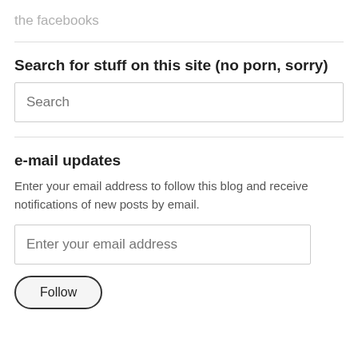the facebooks
Search for stuff on this site (no porn, sorry)
e-mail updates
Enter your email address to follow this blog and receive notifications of new posts by email.